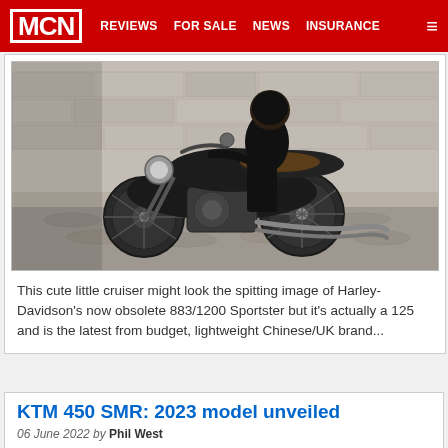MCN  REVIEWS  FOR SALE  NEWS  INSURANCE
[Figure (photo): A person dressed in black riding a black cruiser motorcycle on a cobblestone street, the bike resembling a Harley-Davidson Sportster style 125cc Chinese/UK brand]
This cute little cruiser might look the spitting image of Harley-Davidson's now obsolete 883/1200 Sportster but it's actually a 125 and is the latest from budget, lightweight Chinese/UK brand...
KTM 450 SMR: 2023 model unveiled
06 June 2022 by Phil West